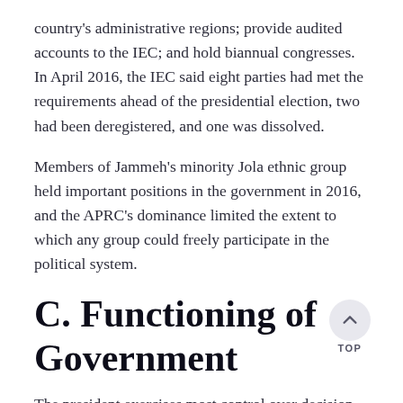country's administrative regions; provide audited accounts to the IEC; and hold biannual congresses. In April 2016, the IEC said eight parties had met the requirements ahead of the presidential election, two had been deregistered, and one was dissolved.
Members of Jammeh's minority Jola ethnic group held important positions in the government in 2016, and the APRC's dominance limited the extent to which any group could freely participate in the political system.
C. Functioning of Government
The president exercises most control over decision-making, and government operations are generally opaque.